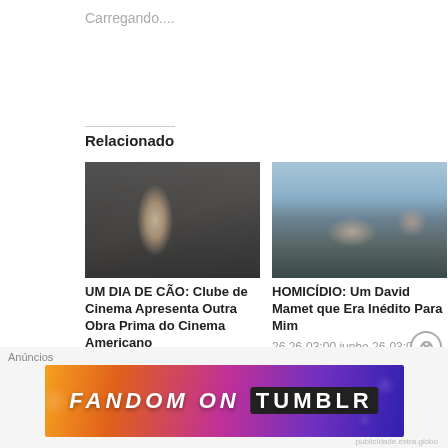Carregando....
Relacionado
[Figure (photo): Movie still: man in dark suit in elevator scene]
UM DIA DE CÃO: Clube de Cinema Apresenta Outra Obra Prima do Cinema Americano
7 07-03:00 julho 07-03:00 2022
Em "FILMES
[Figure (photo): Movie still: two men outdoors, one pointing a gun]
HOMICÍDIO: Um David Mamet que Era Inédito Para Mim
26 26-03:00 junho 26-03:00 2022
Em "FILMES"
Anúncios
[Figure (other): Fandom on Tumblr advertisement banner with colorful gradient background]